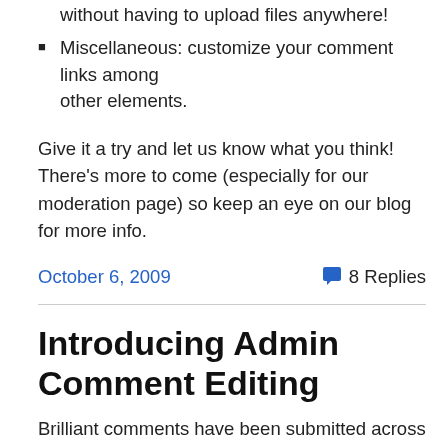without having to upload files anywhere!
Miscellaneous: customize your comment links among other elements.
Give it a try and let us know what you think! There's more to come (especially for our moderation page) so keep an eye on our blog for more info.
October 6, 2009
8 Replies
Introducing Admin Comment Editing
Brilliant comments have been submitted across IntenseDebate.  But once in a blue moon someone submits a great comment that's perfect except there's a